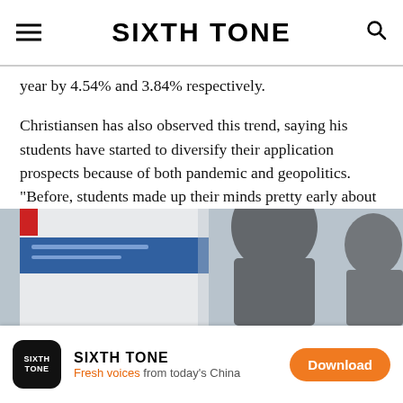SIXTH TONE
year by 4.54% and 3.84% respectively.
Christiansen has also observed this trend, saying his students have started to diversify their application prospects because of both pandemic and geopolitics. “Before, students made up their minds pretty early about going to the UK, US, or Canada, but now they are applying to Hong Kong and Singapore,” he said. “There is a greater selection in their choices initially because of skepticism over COVID-19 and what is happening.”
[Figure (photo): Photo of students at what appears to be an education fair or similar event, showing the back of a person’s head in front of display boards.]
SIXTH TONE — Fresh voices from today’s China — Download